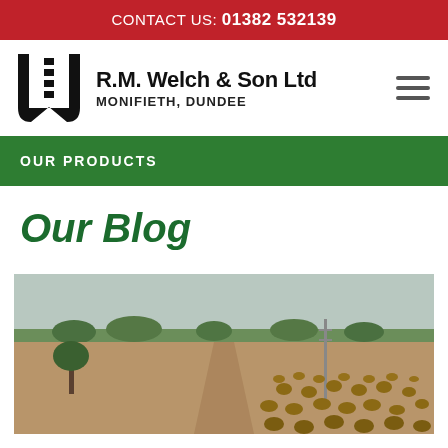CONTACT US: 01382 532139
[Figure (logo): R.M. Welch & Son Ltd company logo — stylized W letterform in black with decorative elements]
R.M. Welch & Son Ltd MONIFIETH, DUNDEE
OUR PRODUCTS
Our Blog
[Figure (photo): Aerial view of a rural agricultural field with hay bales scattered across flat farmland, trees in the background, overcast sky]